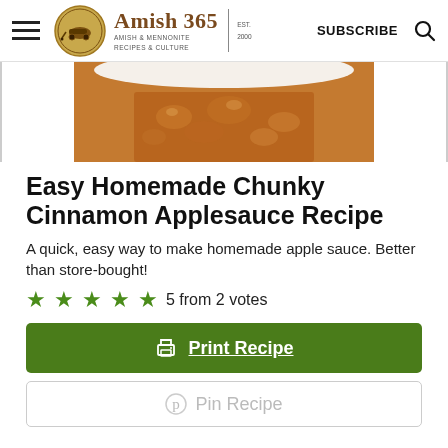Amish 365 — AMISH & MENNONITE RECIPES & CULTURE | EST. 2000 | SUBSCRIBE
[Figure (photo): Close-up photo of chunky cinnamon applesauce in a white bowl, warm brown color with visible apple chunks]
Easy Homemade Chunky Cinnamon Applesauce Recipe
A quick, easy way to make homemade apple sauce. Better than store-bought!
5 from 2 votes
Print Recipe
Pin Recipe